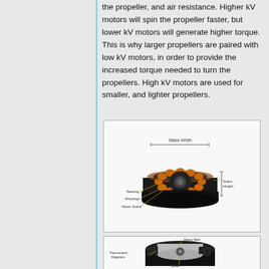the propeller, and air resistance. Higher kV motors will spin the propeller faster, but lower kV motors will generate higher torque. This is why larger propellers are paired with low kV motors, in order to provide the increased torque needed to turn the propellers. High kV motors are used for smaller, and lighter propellers.
[Figure (engineering-diagram): Cross-section diagram of a brushless motor stator showing labeled parts: Stator Width (bracket across top), Bearing, Windings, Motor Stator on left side, and Stator Height (bracket on right side). The stator has copper windings arranged in a ring around a central bearing, viewed from slightly above.]
[Figure (engineering-diagram): Cross-section diagram of a brushless motor bell/rotor showing labeled parts: Motor Bell (top), Permanent Magnets (middle left), and Shaft (bottom). The motor bell is shown as a black ring with magnets visible inside, and a central shaft.]